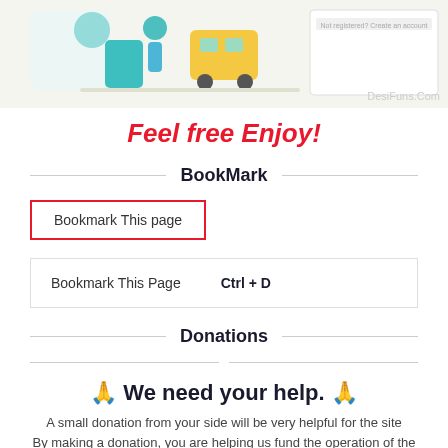[Figure (illustration): Top banner area showing a partial illustration with characters and vehicles on a light background, with DesiFuns.Com watermark]
Feel free Enjoy!
BookMark
Bookmark This page
| Bookmark This Page | Ctrl + D |
Donations
🙏 We need your help. 🙏
A small donation from your side will be very helpful for the site
By making a donation, you are helping us fund the operation of the